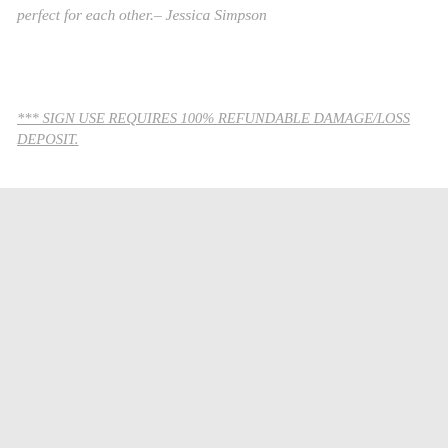perfect for each other.– Jessica Simpson
*** SIGN USE REQUIRES 100% REFUNDABLE DAMAGE/LOSS DEPOSIT.